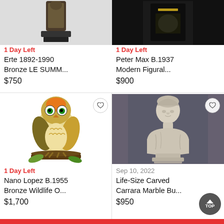[Figure (photo): Bronze sculpture on dark base, top portion visible, cropped]
1 Day Left
Erte 1892-1990 Bronze LE SUMM...
$750
[Figure (photo): Peter Max artwork on dark background, cropped]
1 Day Left
Peter Max B.1937 Modern Figural...
$900
[Figure (photo): Colorful painted owl figurine on branch, with heart/favorite button]
1 Day Left
Nano Lopez B.1955 Bronze Wildlife O...
$1,700
[Figure (photo): Life-size carved Carrara marble bust of woman on pedestal, dark gray background, with heart/favorite button]
Sep 10, 2022
Life-Size Carved Carrara Marble Bu...
$950